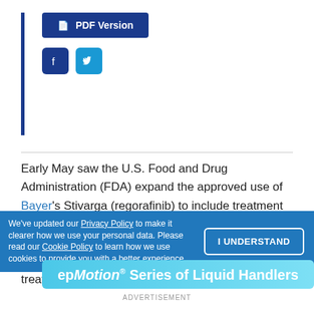[Figure (other): PDF Version button and social media icons (Facebook, Twitter) with a vertical blue bar on the left]
Early May saw the U.S. Food and Drug Administration (FDA) expand the approved use of Bayer's Stivarga (regorafinib) to include treatment of patients with hepatocellular carcinoma (HCC or liver cancer) who have been previously treated with the drug sorafenib, marking the first FDA-approved treatment for a liver
We've updated our Privacy Policy to make it clearer how we use your personal data. Please read our Cookie Policy to learn how we use cookies to provide you with a better experience.
[Figure (other): epMotion Series of Liquid Handlers advertisement banner]
ADVERTISEMENT